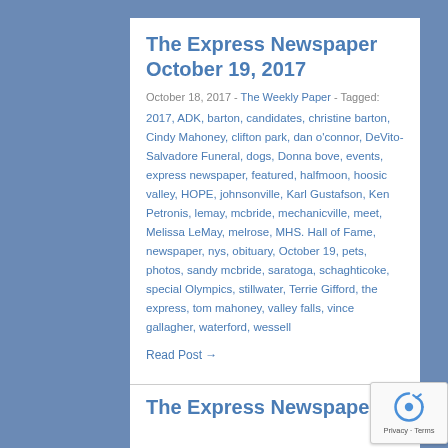The Express Newspaper October 19, 2017
October 18, 2017  -  The Weekly Paper  -  Tagged: 2017, ADK, barton, candidates, christine barton, Cindy Mahoney, clifton park, dan o'connor, DeVito-Salvadore Funeral, dogs, Donna bove, events, express newspaper, featured, halfmoon, hoosic valley, HOPE, johnsonville, Karl Gustafson, Ken Petronis, lemay, mcbride, mechanicville, meet, Melissa LeMay, melrose, MHS. Hall of Fame, newspaper, nys, obituary, October 19, pets, photos, sandy mcbride, saratoga, schaghticoke, special Olympics, stillwater, Terrie Gifford, the express, tom mahoney, valley falls, vince gallagher, waterford, wessell
Read Post →
The Express Newspaper